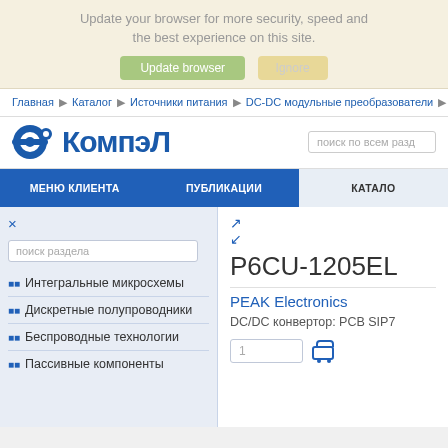Update your browser for more security, speed and the best experience on this site.
Update browser   Ignore
Главная ▶ Каталог ▶ Источники питания ▶ DC-DC модульные преобразователи ▶
[Figure (logo): Компэл logo with blue circular icon and Cyrillic text]
поиск по всем разд
МЕНЮ КЛИЕНТА   ПУБЛИКАЦИИ   КАТАЛО
поиск раздела
Интегральные микросхемы
Дискретные полупроводники
Беспроводные технологии
Пассивные компоненты
P6CU-1205EL
PEAK Electronics
DC/DC конвертор: PCB SIP7